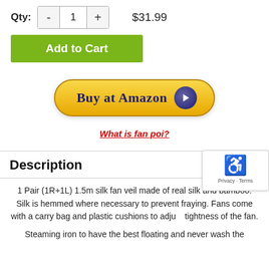Qty: - 1 + $31.99
[Figure (other): Add to Cart green button]
[Figure (other): Buy at Amazon yellow button with play icon]
What is fan poi?
Description
1 Pair (1R+1L) 1.5m silk fan veil made of real silk and bamboo. Silk is hemmed where necessary to prevent fraying. Fans come with a carry bag and plastic cushions to adjust tightness of the fan.
Steaming iron to have the best floating and never wash the